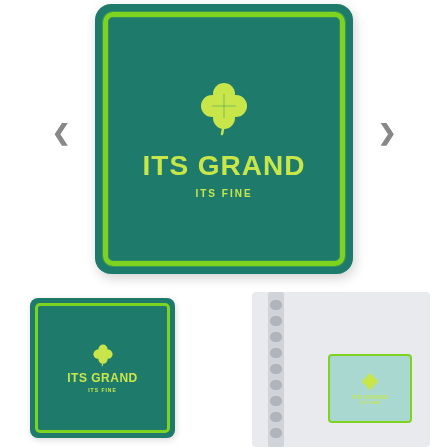[Figure (illustration): Large square card with dark teal background, rough bright green border, yellow-green four-leaf clover icon, bold text 'ITS GRAND' and smaller text 'ITS FINE'. Left and right navigation arrows flank the card. Below are two smaller product images: a small card version of the same design on the bottom-left, and a spiral notebook with a small teal label on the bottom-right.]